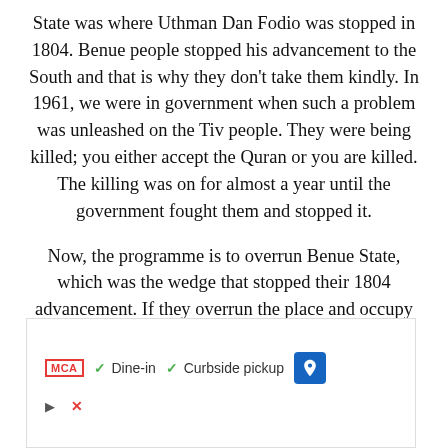State was where Uthman Dan Fodio was stopped in 1804. Benue people stopped his advancement to the South and that is why they don't take them kindly. In 1961, we were in government when such a problem was unleashed on the Tiv people. They were being killed; you either accept the Quran or you are killed. The killing was on for almost a year until the government fought them and stopped it.
Now, the programme is to overrun Benue State, which was the wedge that stopped their 1804 advancement. If they overrun the place and occupy it, they will then move forward to Cross
[Figure (other): Advertisement overlay showing MCA badge, Dine-in and Curbside pickup options with checkmarks, a blue arrow navigation badge, a play button icon, and a close (X) icon.]